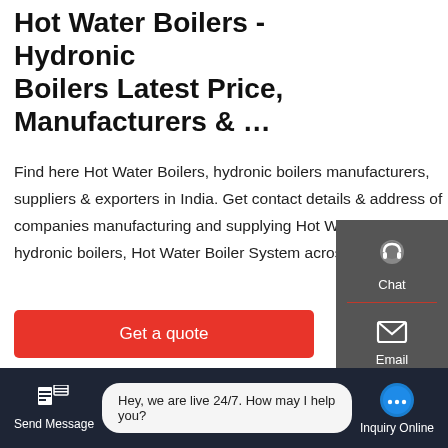Hot Water Boilers - Hydronic Boilers Latest Price, Manufacturers & ...
Find here Hot Water Boilers, hydronic boilers manufacturers, suppliers & exporters in India. Get contact details & address of companies manufacturing and supplying Hot Water Boilers, hydronic boilers, Hot Water Boiler System across India.
Get a quote
[Figure (photo): Industrial boiler facility with large cylindrical black boilers and yellow structural supports, pipes and equipment visible in a factory setting]
[Figure (infographic): Sidebar widget with Chat, Email, and Contact options on a dark grey background]
Hey, we are live 24/7. How may I help you?
Send Message
Inquiry Online